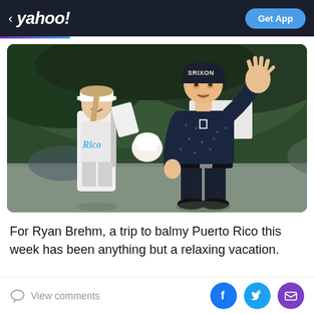< yahoo! — Get App
[Figure (photo): A golfer in a dark navy Srixon cap waves to the crowd. A female caddie in a white Rico-branded outfit smiles beside him. Background shows green trees and tournament signage.]
For Ryan Brehm, a trip to balmy Puerto Rico this week has been anything but a relaxing vacation.
View comments | Facebook share | Twitter share | Email share